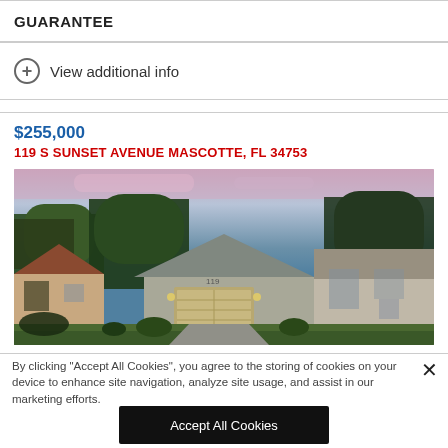GUARANTEE
View additional info
$255,000
119 S SUNSET AVENUE MASCOTTE, FL 34753
[Figure (photo): Exterior photo of a single-family home at 119 S Sunset Avenue, Mascotte FL, showing a two-car garage house with a pink and blue sunset sky and green trees in the background.]
By clicking “Accept All Cookies”, you agree to the storing of cookies on your device to enhance site navigation, analyze site usage, and assist in our marketing efforts.
Accept All Cookies